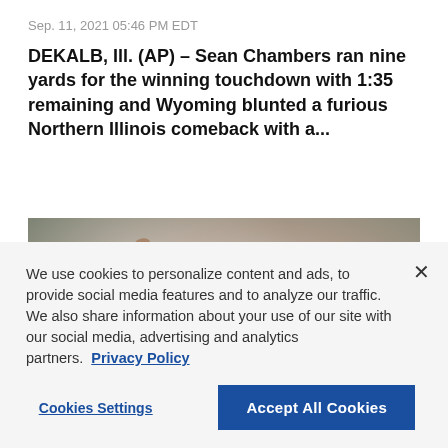Sep. 11, 2021 05:46 PM EDT
DEKALB, Ill. (AP) – Sean Chambers ran nine yards for the winning touchdown with 1:35 remaining and Wyoming blunted a furious Northern Illinois comeback with a...
[Figure (photo): Football player in red jersey and dark helmet throwing a pass]
We use cookies to personalize content and ads, to provide social media features and to analyze our traffic. We also share information about your use of our site with our social media, advertising and analytics partners. Privacy Policy
Cookies Settings | Accept All Cookies